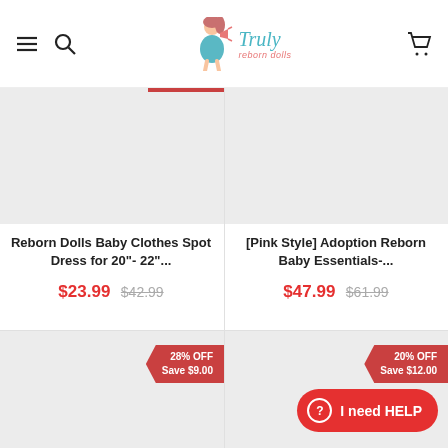Truly Reborn Dolls
[Figure (photo): Product image placeholder for Reborn Dolls Baby Clothes Spot Dress]
[Figure (photo): Product image placeholder for [Pink Style] Adoption Reborn Baby Essentials]
Reborn Dolls Baby Clothes Spot Dress for 20"- 22"...
$23.99  $42.99
[Pink Style] Adoption Reborn Baby Essentials-...
$47.99  $61.99
[Figure (photo): Product image placeholder with 28% OFF badge - Save $9.00]
[Figure (photo): Product image placeholder with 20% OFF badge - Save $12.00]